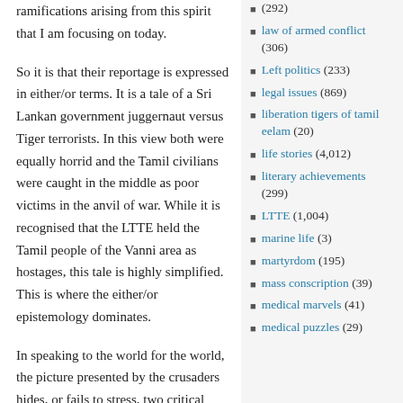ramifications arising from this spirit that I am focusing on today.
So it is that their reportage is expressed in either/or terms. It is a tale of a Sri Lankan government juggernaut versus Tiger terrorists. In this view both were equally horrid and the Tamil civilians were caught in the middle as poor victims in the anvil of war. While it is recognised that the LTTE held the Tamil people of the Vanni area as hostages, this tale is highly simplified. This is where the either/or epistemology dominates.
In speaking to the world for the world, the picture presented by the crusaders hides, or fails to stress, two critical facts about Eelam War IV: namely, (I) that in the years prior to the outbreak of war and from its onset in August 2006 the LTTE trained many civilians in
(292)
law of armed conflict (306)
Left politics (233)
legal issues (869)
liberation tigers of tamil eelam (20)
life stories (4,012)
literary achievements (299)
LTTE (1,004)
marine life (3)
martyrdom (195)
mass conscription (39)
medical marvels (41)
medical puzzles (29)